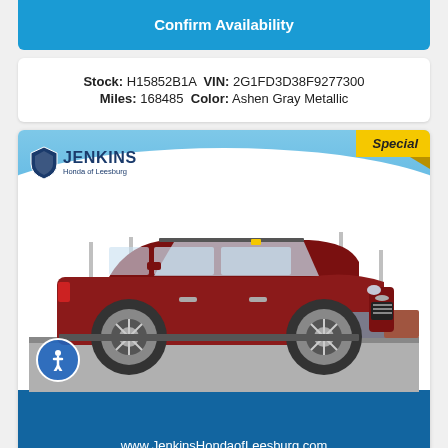Confirm Availability
Stock: H15852B1A VIN: 2G1FD3D38F9277300 Miles: 168485 Color: Ashen Gray Metallic
[Figure (photo): Red Chevrolet Trax SUV parked in a dealership lot, shown in a Jenkins Honda of Leesburg branded image with blue swoosh background, Special badge in top right corner, accessibility icon in lower left, and website URL at bottom.]
www.JenkinsHondaofLeesburg.com